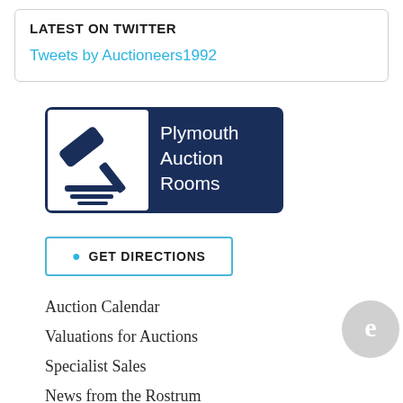LATEST ON TWITTER
Tweets by Auctioneers1992
[Figure (logo): Plymouth Auction Rooms logo: dark navy blue rectangle with a white square on the left containing a gavel/hammer icon, and white text on the right reading 'Plymouth Auction Rooms']
GET DIRECTIONS
Auction Calendar
Valuations for Auctions
Specialist Sales
News from the Rostrum